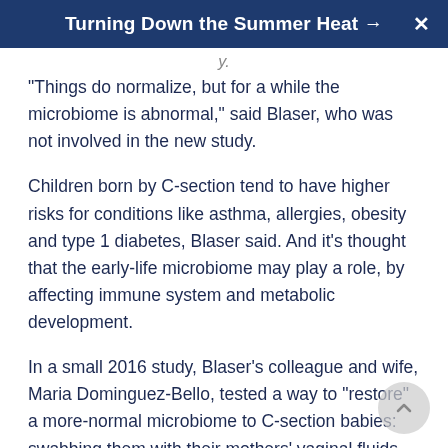Turning Down the Summer Heat →
"Things do normalize, but for a while the microbiome is abnormal," said Blaser, who was not involved in the new study.
Children born by C-section tend to have higher risks for conditions like asthma, allergies, obesity and type 1 diabetes, Blaser said. And it's thought that the early-life microbiome may play a role, by affecting immune system and metabolic development.
In a small 2016 study, Blaser's colleague and wife, Maria Dominguez-Bello, tested a way to "restore" a more-normal microbiome to C-section babies: swabbing them with their mothers' vaginal fluids right after birth.
It seemed to work. One month later, the swabbed infants